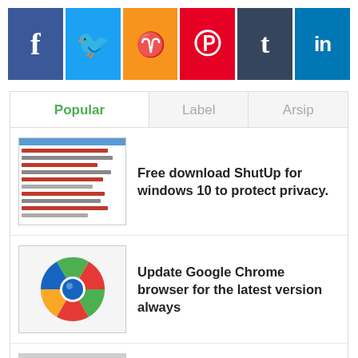[Figure (infographic): Social media icon buttons: Facebook (blue), Twitter (light blue), RSS (orange), Pinterest (red), Tumblr (dark blue-gray), LinkedIn (blue)]
Popular | Label | Arsip (tab bar)
Free download ShutUp for windows 10 to protect privacy.
Update Google Chrome browser for the latest version always
Edge Blocker 1.2 to control the browser for windows 10
5 sites to give up Photoshop